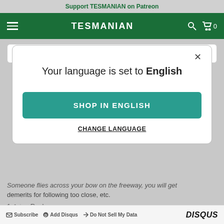Support TESMANIAN on Patreon
[Figure (screenshot): Tesmanian website navigation bar with hamburger menu, TESMANIAN logo in white on green background, search icon, and cart icon with 0 count]
Name
[Figure (screenshot): Modal dialog: 'Your language is set to English' with SHOP IN ENGLISH button and CHANGE LANGUAGE link, and X close button]
Someone flies across your bow on the freeway, you will get demerits for following too close, etc.
1 ^ | v Reply
Subscribe | Add Disqus | Do Not Sell My Data | DISQUS